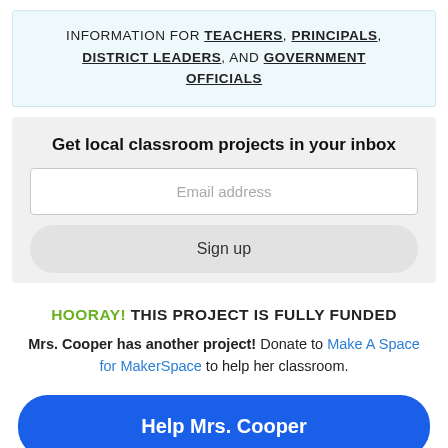INFORMATION FOR TEACHERS, PRINCIPALS, DISTRICT LEADERS, AND GOVERNMENT OFFICIALS
Get local classroom projects in your inbox
Email address
Sign up
HOORAY! THIS PROJECT IS FULLY FUNDED
Mrs. Cooper has another project! Donate to Make A Space for MakerSpace to help her classroom.
Help Mrs. Cooper